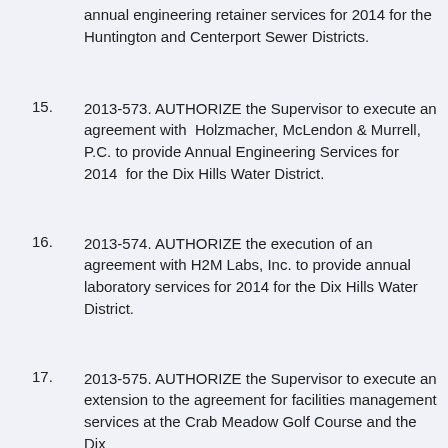(continuation) annual engineering retainer services for 2014 for the Huntington and Centerport Sewer Districts.
15. 2013-573. AUTHORIZE the Supervisor to execute an agreement with Holzmacher, McLendon & Murrell, P.C. to provide Annual Engineering Services for 2014 for the Dix Hills Water District.
16. 2013-574. AUTHORIZE the execution of an agreement with H2M Labs, Inc. to provide annual laboratory services for 2014 for the Dix Hills Water District.
17. 2013-575. AUTHORIZE the Supervisor to execute an extension to the agreement for facilities management services at the Crab Meadow Golf Course and the Dix